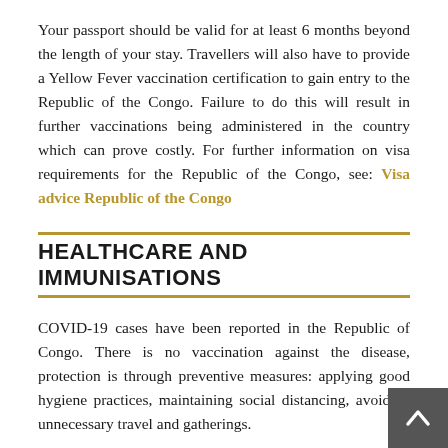Your passport should be valid for at least 6 months beyond the length of your stay. Travellers will also have to provide a Yellow Fever vaccination certification to gain entry to the Republic of the Congo. Failure to do this will result in further vaccinations being administered in the country which can prove costly. For further information on visa requirements for the Republic of the Congo, see: Visa advice Republic of the Congo
HEALTHCARE AND IMMUNISATIONS
COVID-19 cases have been reported in the Republic of Congo. There is no vaccination against the disease, protection is through preventive measures: applying good hygiene practices, maintaining social distancing, avoiding unnecessary travel and gatherings.